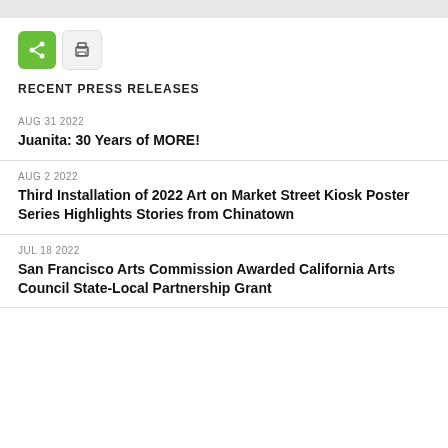RECENT PRESS RELEASES
AUG 31 2022
Juanita: 30 Years of MORE!
AUG 2 2022
Third Installation of 2022 Art on Market Street Kiosk Poster Series Highlights Stories from Chinatown
JUL 18 2022
San Francisco Arts Commission Awarded California Arts Council State-Local Partnership Grant